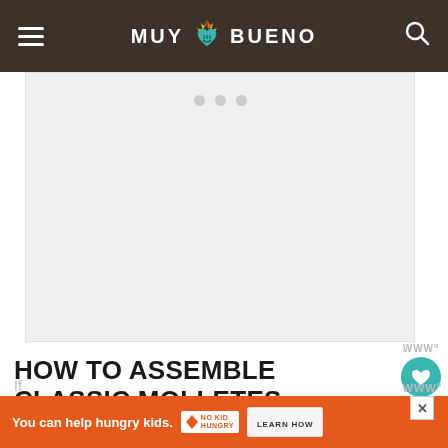MUY BUENO
[Figure (photo): Main content image area with carousel dots, light gray placeholder]
HOW TO ASSEMBLE CLASSIC MOLLETES
If ... he ...
[Figure (infographic): Ad banner: You can help hungry kids. NO KID HUNGRY - LEARN HOW]